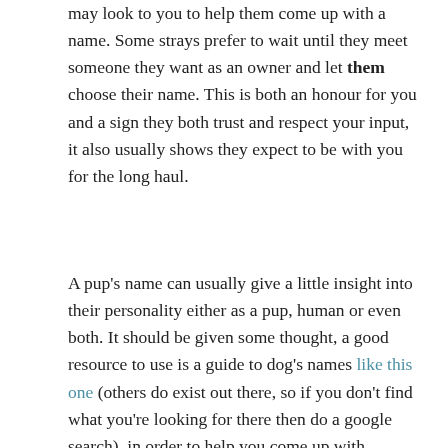may look to you to help them come up with a name. Some strays prefer to wait until they meet someone they want as an owner and let them choose their name. This is both an honour for you and a sign they both trust and respect your input, it also usually shows they expect to be with you for the long haul.
A pup's name can usually give a little insight into their personality either as a pup, human or even both. It should be given some thought, a good resource to use is a guide to dog's names like this one (others do exist out there, so if you don't find what you're looking for there then do a google search), in order to help you come up with something, but don't be afraid to be creative and original.